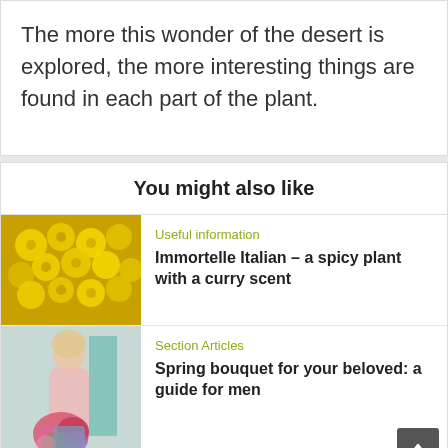The more this wonder of the desert is explored, the more interesting things are found in each part of the plant.
You might also like
[Figure (photo): Yellow round clustered flowers (immortelle/helichrysum)]
Useful information
Immortelle Italian – a spicy plant with a curry scent
[Figure (photo): Woman sitting with large spring flower bouquet]
Section Articles
Spring bouquet for your beloved: a guide for men